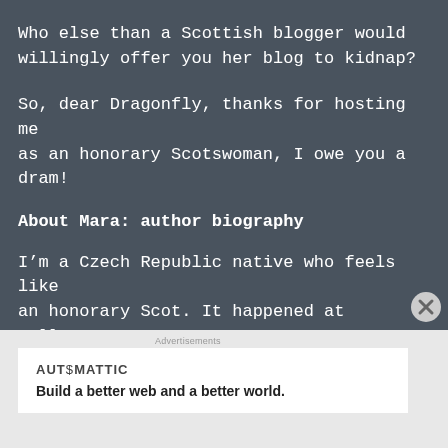Who else than a Scottish blogger would willingly offer you her blog to kidnap?
So, dear Dragonfly, thanks for hosting me as an honorary Scotswoman, I owe you a dram!
About Mara: author biography
I’m a Czech Republic native who feels like an honorary Scot. It happened at college: I was minding my own business studying English Literature, when I was recommended to read Alasdair Gray’s Lanark. I fell in love immediately (not with Alasdair per
Advertisements
[Figure (logo): Automattic logo and tagline: Build a better web and a better world.]